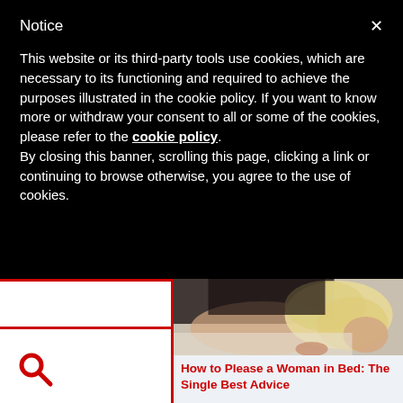Notice
This website or its third-party tools use cookies, which are necessary to its functioning and required to achieve the purposes illustrated in the cookie policy. If you want to know more or withdraw your consent to all or some of the cookies, please refer to the cookie policy.
By closing this banner, scrolling this page, clicking a link or continuing to browse otherwise, you agree to the use of cookies.
[Figure (photo): A blonde woman lying on a bed, viewed from behind, looking over her shoulder toward the camera.]
How to Please a Woman in Bed: The Single Best Advice